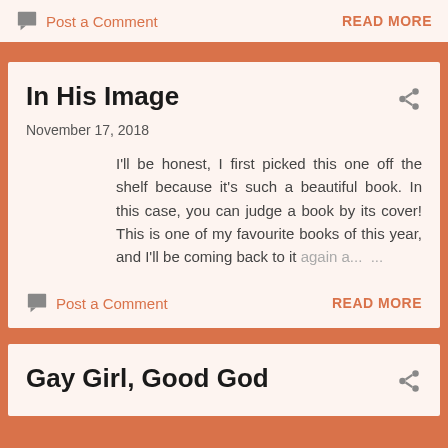Post a Comment
READ MORE
In His Image
November 17, 2018
I'll be honest, I first picked this one off the shelf because it's such a beautiful book. In this case, you can judge a book by its cover! This is one of my favourite books of this year, and I'll be coming back to it again a... ...
Post a Comment
READ MORE
Gay Girl, Good God